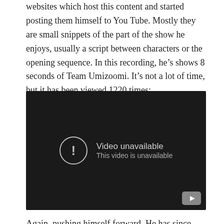websites which host this content and started posting them himself to You Tube. Mostly they are small snippets of the part of the show he enjoys, usually a script between characters or the opening sequence. In this recording, he's shows 8 seconds of Team Umizoomi. It's not a lot of time, but it has been viewed 1220 times:
[Figure (screenshot): Embedded YouTube video player showing 'Video unavailable — This video is unavailable' message on a dark background, with a YouTube play button icon in the bottom right corner.]
Again, pushing himself forward. He has since created a